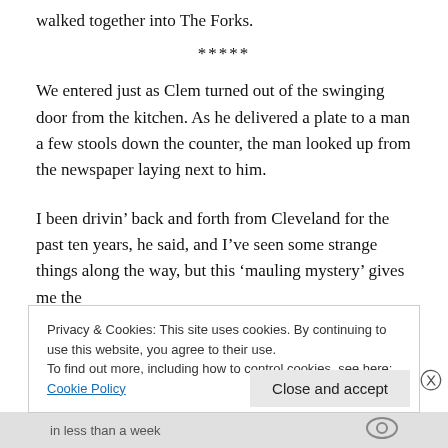walked together into The Forks.
*****
We entered just as Clem turned out of the swinging door from the kitchen. As he delivered a plate to a man a few stools down the counter, the man looked up from the newspaper laying next to him.
I been drivin’ back and forth from Cleveland for the past ten years, he said, and I’ve seen some strange things along the way, but this ‘mauling mystery’ gives me the
Privacy & Cookies: This site uses cookies. By continuing to use this website, you agree to their use.
To find out more, including how to control cookies, see here: Cookie Policy
in less than a week